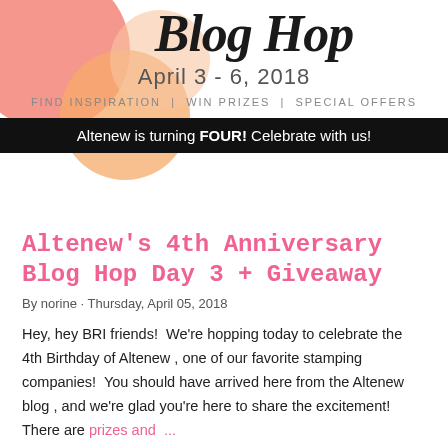[Figure (illustration): Blog Hop banner with decorative pink, orange, and peach circles on the left, script text 'Blog Hop' in black, date 'April 3 - 6, 2018', tagline 'FIND INSPIRATION | WIN PRIZES | SPECIAL OFFERS', and a black bar reading 'Altenew is turning FOUR! Celebrate with us!']
Altenew's 4th Anniversary Blog Hop Day 3 + Giveaway
By norine · Thursday, April 05, 2018
Hey, hey BRI friends!  We're hopping today to celebrate the 4th Birthday of Altenew , one of our favorite stamping companies!  You should have arrived here from the Altenew blog , and we're glad you're here to share the excitement! There are prizes and ...
SHARE   294 COMMENTS   READ MORE